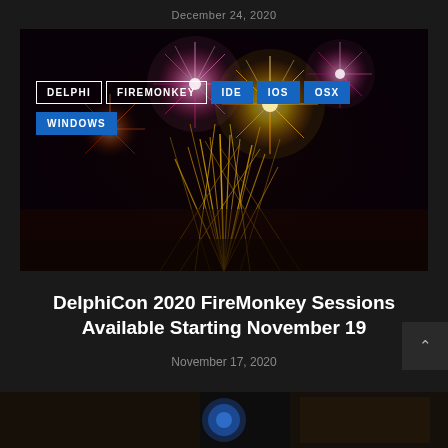December 24, 2020
[Figure (photo): Fireworks against a dark night sky with colorful bursts and golden sparkling streaks. Overlaid tags: DELPHI, FIREMONKEY, IDE, IOS, OSX, WINDOWS]
DelphiCon 2020 FireMonkey Sessions Available Starting November 19
November 17, 2020
[Figure (photo): Bottom strip showing partial preview of another article image]